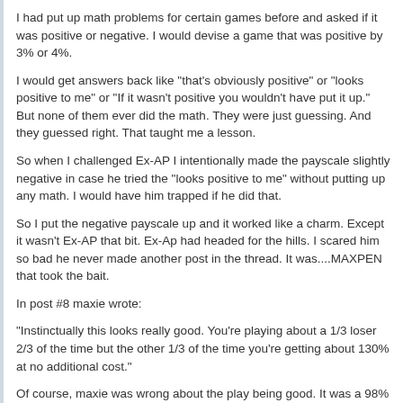I had put up math problems for certain games before and asked if it was positive or negative. I would devise a game that was positive by 3% or 4%.
I would get answers back like "that's obviously positive" or "looks positive to me" or "If it wasn't positive you wouldn't have put it up." But none of them ever did the math. They were just guessing. And they guessed right. That taught me a lesson.
So when I challenged Ex-AP I intentionally made the payscale slightly negative in case he tried the "looks positive to me" without putting up any math. I would have him trapped if he did that.
So I put the negative payscale up and it worked like a charm. Except it wasn't Ex-AP that bit. Ex-Ap had headed for the hills. I scared him so bad he never made another post in the thread. It was....MAXPEN that took the bait.
In post #8 maxie wrote:
"Instinctually this looks really good. You're playing about a 1/3 loser 2/3 of the time but the other 1/3 of the time you're getting about 130% at no additional cost."
Of course, maxie was wrong about the play being good. It was a 98% game. His critical mistake was he guessed the play was positive or I wouldn't have put it up. He followed with "I'm looking forward to the math lesson" that I had promised to put up.